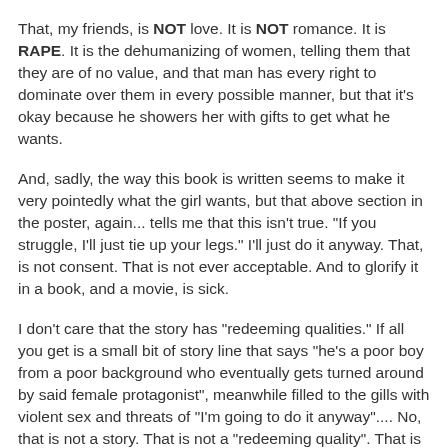That, my friends, is NOT love. It is NOT romance. It is RAPE. It is the dehumanizing of women, telling them that they are of no value, and that man has every right to dominate over them in every possible manner, but that it's okay because he showers her with gifts to get what he wants.
And, sadly, the way this book is written seems to make it very pointedly what the girl wants, but that above section in the poster, again... tells me that this isn't true. "If you struggle, I'll just tie up your legs." I'll just do it anyway. That, is not consent. That is not ever acceptable. And to glorify it in a book, and a movie, is sick.
I don't care that the story has "redeeming qualities." If all you get is a small bit of story line that says "he's a poor boy from a poor background who eventually gets turned around by said female protagonist", meanwhile filled to the gills with violent sex and threats of "I'm going to do it anyway".... No, that is not a story. That is not a "redeeming quality". That is justification. To read